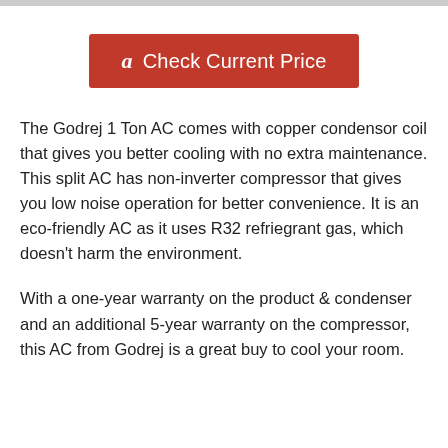[Figure (other): Amazon 'Check Current Price' button with red background and Amazon logo]
The Godrej 1 Ton AC comes with copper condensor coil that gives you better cooling with no extra maintenance. This split AC has non-inverter compressor that gives you low noise operation for better convenience. It is an eco-friendly AC as it uses R32 refriegrant gas, which doesn't harm the environment.
With a one-year warranty on the product & condenser and an additional 5-year warranty on the compressor, this AC from Godrej is a great buy to cool your room.